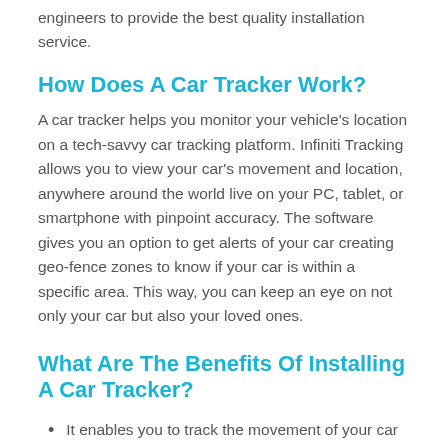engineers to provide the best quality installation service.
How Does A Car Tracker Work?
A car tracker helps you monitor your vehicle's location on a tech-savvy car tracking platform. Infiniti Tracking allows you to view your car's movement and location, anywhere around the world live on your PC, tablet, or smartphone with pinpoint accuracy. The software gives you an option to get alerts of your car creating geo-fence zones to know if your car is within a specific area. This way, you can keep an eye on not only your car but also your loved ones.
What Are The Benefits Of Installing A Car Tracker?
It enables you to track the movement of your car real time